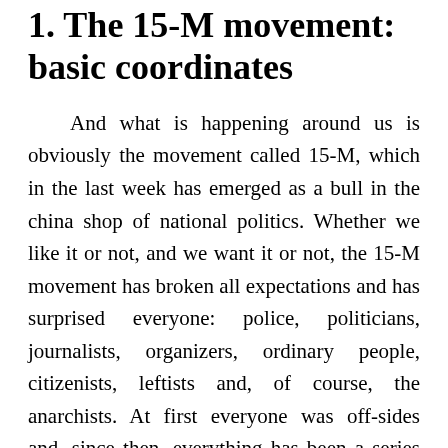1. The 15-M movement: basic coordinates
And what is happening around us is obviously the movement called 15-M, which in the last week has emerged as a bull in the china shop of national politics. Whether we like it or not, and we want it or not, the 15-M movement has broken all expectations and has surprised everyone: police, politicians, journalists, organizers, ordinary people, citizenists, leftists and, of course, the anarchists. At first everyone was off-sides and, since then, everything has been a series of more or less successful attempts to take positions on or within the 15-M. We will not